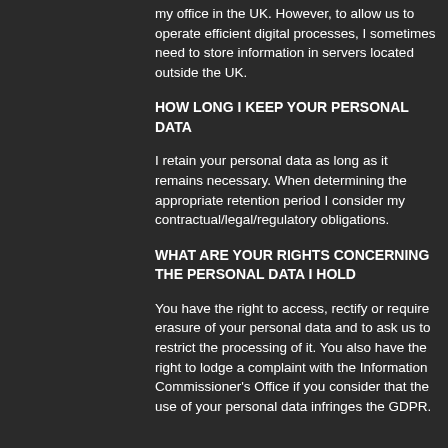my office in the UK. However, to allow us to operate efficient digital processes, I sometimes need to store information in servers located outside the UK.
HOW LONG I KEEP YOUR PERSONAL DATA
I retain your personal data as long as it remains necessary. When determining the appropriate retention period I consider my contractual/legal/regulatory obligations.
WHAT ARE YOUR RIGHTS CONCERNING THE PERSONAL DATA I HOLD
You have the right to access, rectify or require erasure of your personal data and to ask us to restrict the processing of it. You also have the right to lodge a complaint with the Information Commissioner's Office if you consider that the use of your personal data infringes the GDPR.